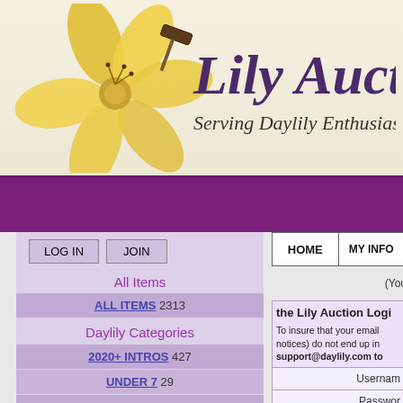[Figure (logo): Lily Auction logo with yellow daylily flower and gavel, text 'Lily Auction' in dark purple serif font, subtitle 'Serving Daylily Enthusiasts Since 1995' in italic]
LOG IN   JOIN
All Items
ALL ITEMS 2313
Daylily Categories
2020+ INTROS 427
UNDER 7 29
7 UNDER 20 424
20 & OVER 333
HOME   MY INFO
(You
the Lily Auction Logi
To insure that your email notices) do not end up in support@daylily.com to
Username
Password